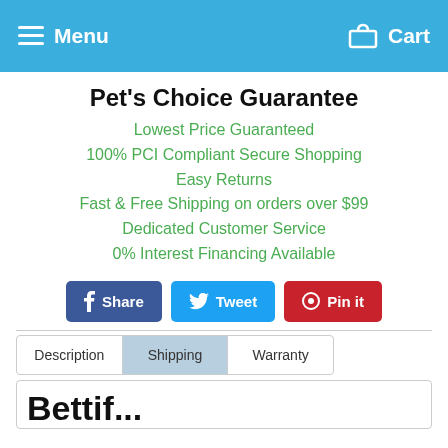Menu  Cart
Pet's Choice Guarantee
Lowest Price Guaranteed
100% PCI Compliant Secure Shopping
Easy Returns
Fast & Free Shipping on orders over $99
Dedicated Customer Service
0% Interest Financing Available
[Figure (other): Social sharing buttons: Share (Facebook blue), Tweet (Twitter blue), Pin it (Pinterest red)]
Description  Shipping  Warranty
Bettif...